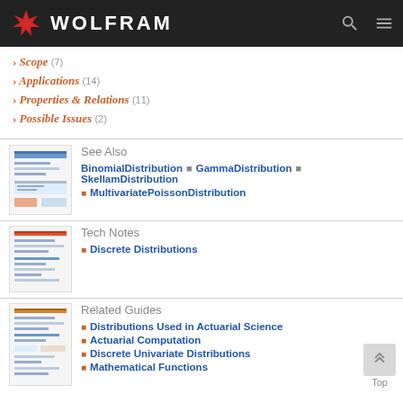WOLFRAM
> Scope (7)
> Applications (14)
> Properties & Relations (11)
> Possible Issues (2)
See Also
BinomialDistribution · GammaDistribution · SkellamDistribution · MultivariatePoissonDistribution
Tech Notes
Discrete Distributions
Related Guides
Distributions Used in Actuarial Science
Actuarial Computation
Discrete Univariate Distributions
Mathematical Functions